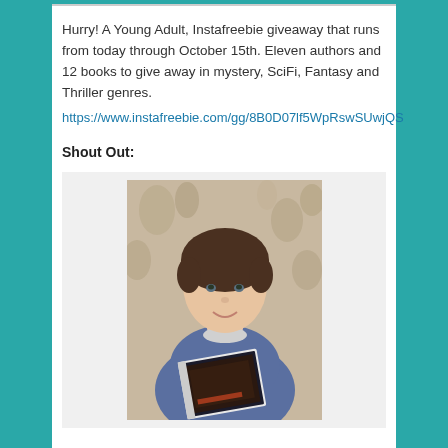Hurry! A Young Adult, Instafreebie giveaway that runs from today through October 15th. Eleven authors and 12 books to give away in mystery, SciFi, Fantasy and Thriller genres.
https://www.instafreebie.com/gg/8B0D07lf5WpRswSUwjQS
Shout Out:
[Figure (photo): Young person with short bowl-cut hair, smiling, wearing a blue hoodie, holding a book with a dark cover, lying against a floral background]